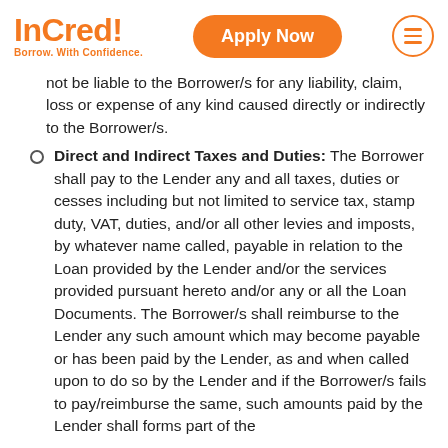InCred — Borrow. With Confidence. | Apply Now
not be liable to the Borrower/s for any liability, claim, loss or expense of any kind caused directly or indirectly to the Borrower/s.
Direct and Indirect Taxes and Duties: The Borrower shall pay to the Lender any and all taxes, duties or cesses including but not limited to service tax, stamp duty, VAT, duties, and/or all other levies and imposts, by whatever name called, payable in relation to the Loan provided by the Lender and/or the services provided pursuant hereto and/or any or all the Loan Documents. The Borrower/s shall reimburse to the Lender any such amount which may become payable or has been paid by the Lender, as and when called upon to do so by the Lender and if the Borrower/s fails to pay/reimburse the same, such amounts paid by the Lender shall forms part of the